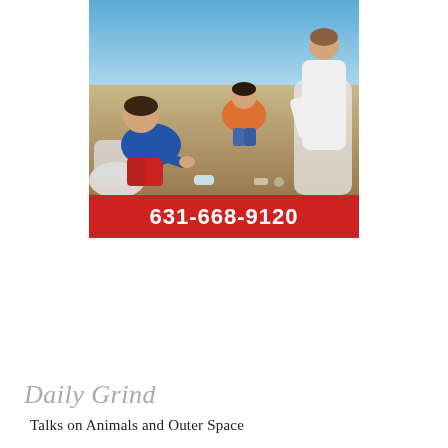[Figure (photo): Children and adults cleaning up a beach, picking up litter and placing it in white plastic bags. A boy in a blue shirt and red pants sits in the foreground. A person in orange crouches in the background. A person in white stands on the right. Sandy beach with blue sky.]
631-668-9120
Daily Grind
Talks on Animals and Outer Space